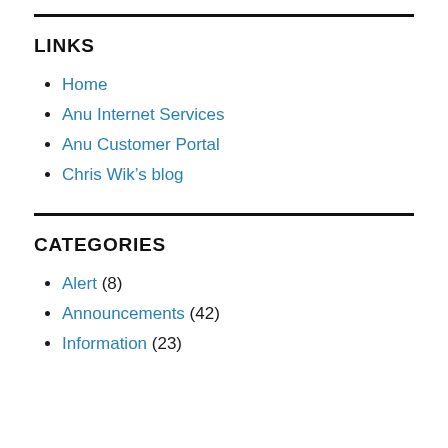LINKS
Home
Anu Internet Services
Anu Customer Portal
Chris Wik's blog
CATEGORIES
Alert (8)
Announcements (42)
Information (23)